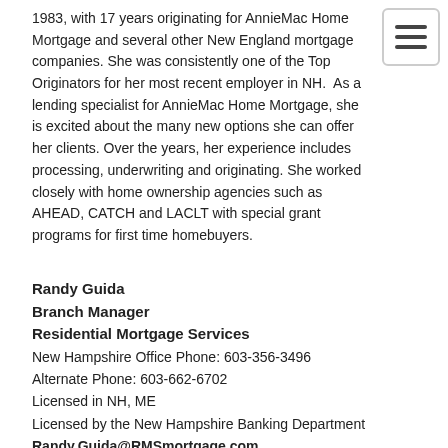1983, with 17 years originating for AnnieMac Home Mortgage and several other New England mortgage companies. She was consistently one of the Top Originators for her most recent employer in NH. As a lending specialist for AnnieMac Home Mortgage, she is excited about the many new options she can offer her clients. Over the years, her experience includes processing, underwriting and originating. She worked closely with home ownership agencies such as AHEAD, CATCH and LACLT with special grant programs for first time homebuyers.
Randy Guida
Branch Manager
Residential Mortgage Services
New Hampshire Office Phone: 603-356-3496
Alternate Phone: 603-662-6702
Licensed in NH, ME
Licensed by the New Hampshire Banking Department
Randy.Guida@RMSmortgage.com